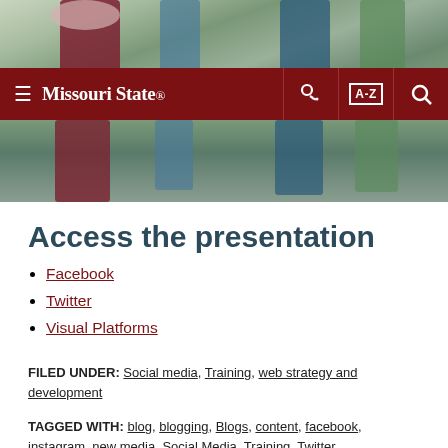[Figure (photo): Campus photo showing students walking on a path, one wearing a maroon Bear Bash 2016 t-shirt]
Missouri State — navigation bar with hamburger menu, key icon, A-Z index, and search icon
Access the presentation
Facebook
Twitter
Visual Platforms
FILED UNDER: Social media, Training, web strategy and development
TAGGED WITH: blog, blogging, Blogs, content, facebook, instagram, new media, Social Media, Training, Twitter